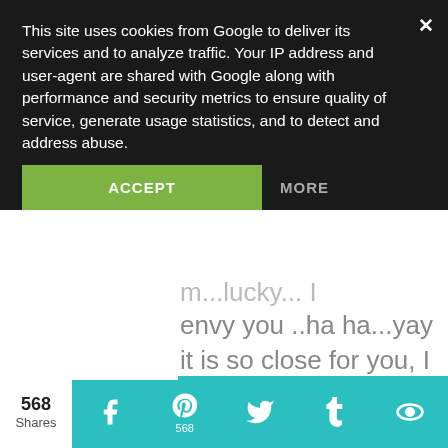This site uses cookies from Google to deliver its services and to analyze traffic. Your IP address and user-agent are shared with Google along with performance and security metrics to ensure quality of service, generate usage statistics, and to detect and address abuse.
ACCEPT
MORE
m...lucky... I envy you ..ha ha...yay it is so close for you, I loved it, maybe you will discover something new next time! Happy 4th!!
Valerie
xo
568 Shares  [Facebook] [Pinterest 568] [Twitter] [Tumblr] [Other]